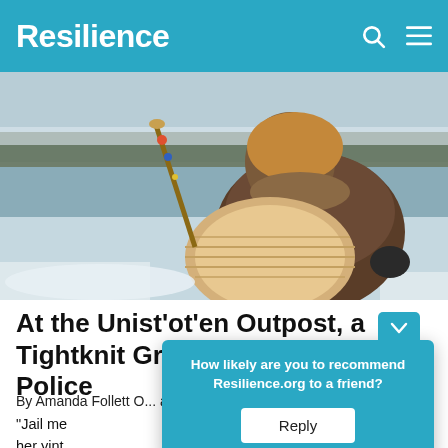Resilience
[Figure (photo): Person in brown winter coat holding a large drum in a snowy outdoor setting near water]
At the Unist'ot'en Outpost, a Tightknit Group Readies for Police
By Amanda Follett... and The T...
"Jail me... about her yint... Wet'suw...
[Figure (infographic): Popup overlay asking 'How likely are you to recommend Resilience.org to a friend?' with a Reply button]